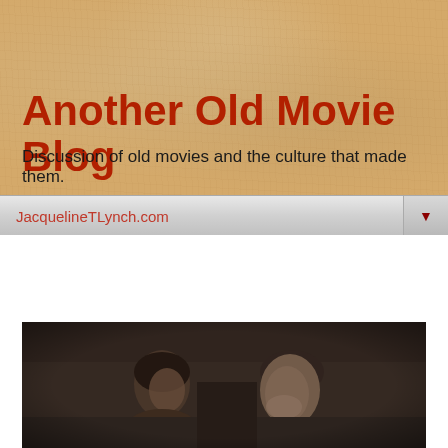Another Old Movie Blog
Discussion of old movies and the culture that made them.
JacquelineTLynch.com
Thursday, May 8, 2014
Swell Guy - 1946
[Figure (photo): Black and white still from the 1946 film Swell Guy showing a woman and a man in close profile, the man smiling]